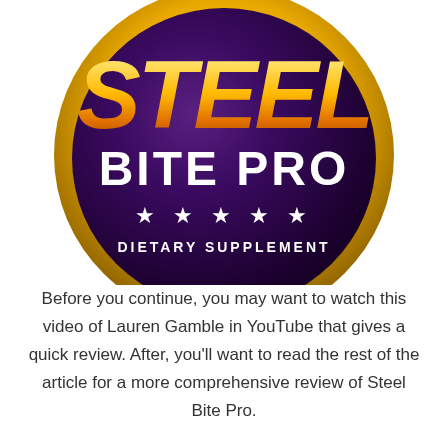[Figure (logo): Steel Bite Pro circular badge logo with gold outer ring, dark purple inner circle, gold italic STEEL text, white BITE PRO text, five white stars, and white DIETARY SUPPLEMENT text]
Before you continue, you may want to watch this video of Lauren Gamble in YouTube that gives a quick review. After, you’ll want to read the rest of the article for a more comprehensive review of Steel Bite Pro.